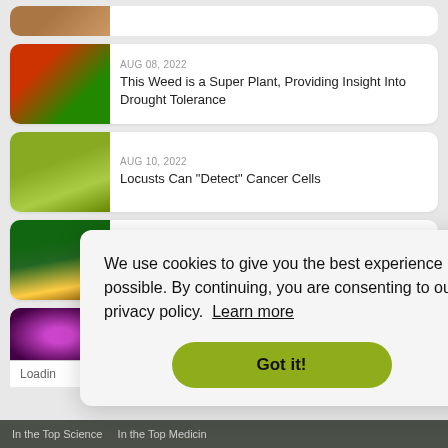[Figure (photo): Partially cropped article thumbnail at top of page]
AUG 08, 2022
This Weed is a Super Plant, Providing Insight Into Drought Tolerance
[Figure (photo): Locust on a surface]
AUG 10, 2022
Locusts Can "Detect" Cancer Cells
[Figure (photo): Tree with sunlight through roots in green forest]
AUG 14, 2022
Even near-term climate change effects could massively impact northernmost forests
[Figure (photo): Purple/pink microscopic organism or bug, partially visible]
Loading
We use cookies to give you the best experience possible. By continuing, you are consenting to our privacy policy. Learn more
Got it!
In the Top Science   In the Top Medicine